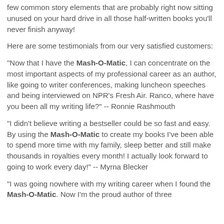few common story elements that are probably right now sitting unused on your hard drive in all those half-written books you'll never finish anyway!
Here are some testimonials from our very satisfied customers:
"Now that I have the Mash-O-Matic, I can concentrate on the most important aspects of my professional career as an author, like going to writer conferences, making luncheon speeches and being interviewed on NPR's Fresh Air. Ranco, where have you been all my writing life?" -- Ronnie Rashmouth
"I didn't believe writing a bestseller could be so fast and easy. By using the Mash-O-Matic to create my books I've been able to spend more time with my family, sleep better and still make thousands in royalties every month! I actually look forward to going to work every day!" -- Myrna Blecker
"I was going nowhere with my writing career when I found the Mash-O-Matic. Now I'm the proud author of three